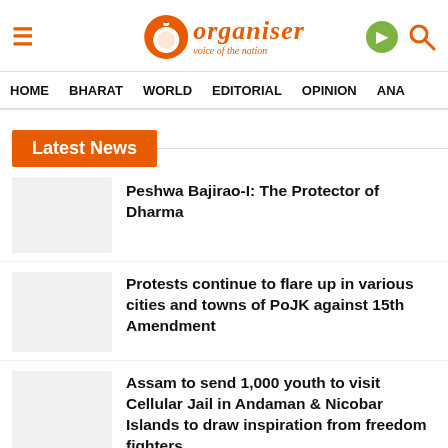Organiser — voice of the nation
HOME  BHARAT  WORLD  EDITORIAL  OPINION  ANA
Latest News
Peshwa Bajirao-I: The Protector of Dharma
Protests continue to flare up in various cities and towns of PoJK against 15th Amendment
Assam to send 1,000 youth to visit Cellular Jail in Andaman & Nicobar Islands to draw inspiration from freedom fighters